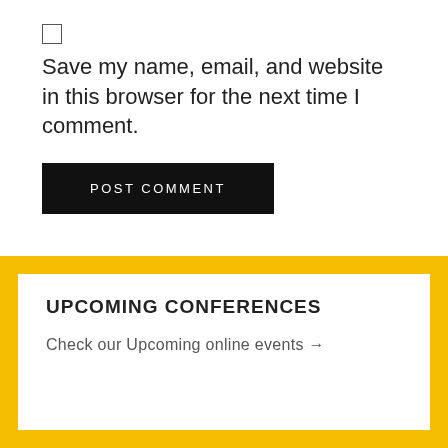Save my name, email, and website in this browser for the next time I comment.
POST COMMENT
UPCOMING CONFERENCES
Check our Upcoming online events →